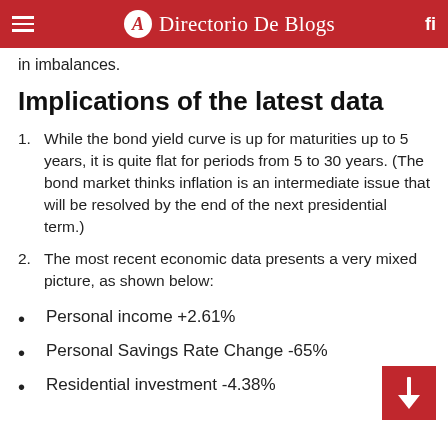Directorio De Blogs
in imbalances.
Implications of the latest data
While the bond yield curve is up for maturities up to 5 years, it is quite flat for periods from 5 to 30 years. (The bond market thinks inflation is an intermediate issue that will be resolved by the end of the next presidential term.)
The most recent economic data presents a very mixed picture, as shown below:
Personal income +2.61%
Personal Savings Rate Change -65%
Residential investment -4.38%